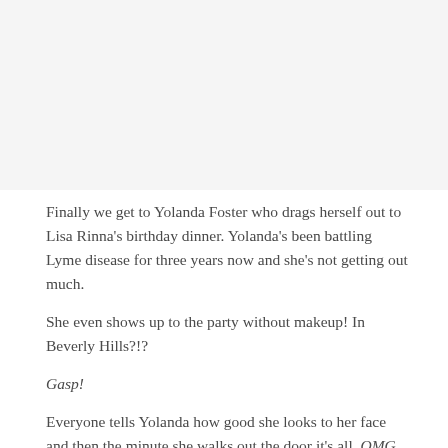[Figure (photo): Photo placeholder occupying the top portion of the page, light gray background]
Finally we get to Yolanda Foster who drags herself out to Lisa Rinna's birthday dinner. Yolanda's been battling Lyme disease for three years now and she's not getting out much.
She even shows up to the party without makeup! In Beverly Hills?!?
Gasp!
Everyone tells Yolanda how good she looks to her face and then the minute she walks out the door it's all, OMG, she looked terrible!